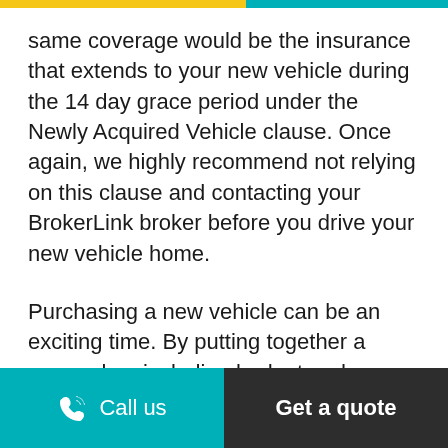same coverage would be the insurance that extends to your new vehicle during the 14 day grace period under the Newly Acquired Vehicle clause. Once again, we highly recommend not relying on this clause and contacting your BrokerLink broker before you drive your new vehicle home.
Purchasing a new vehicle can be an exciting time. By putting together a game plan, including budget and insurance considerations, you can make an informed decision. Contact a BrokerLink broker to
Call us | Get a quote